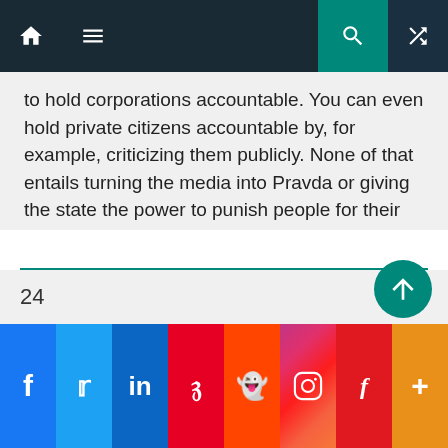Navigation bar with home, menu, search, and shuffle icons
to hold corporations accountable. You can even hold private citizens accountable by, for example, criticizing them publicly. None of that entails turning the media into Pravda or giving the state the power to punish people for their opinions.

It’s remarkable how disconnected the criticism of Pigliucci in this thread is from what he actually wrote. Virtually none of the terrible opinions ascribed to him come from what he wrote.
24
Social sharing bar: Facebook, Twitter, LinkedIn, Pinterest, Reddit, Instagram, Flipboard, More